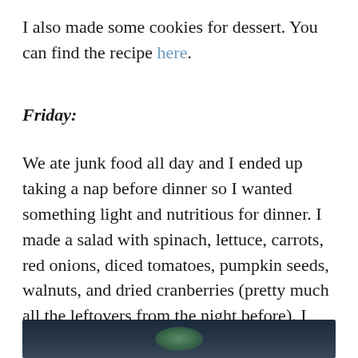I also made some cookies for dessert. You can find the recipe here.
Friday:
We ate junk food all day and I ended up taking a nap before dinner so I wanted something light and nutritious for dinner. I made a salad with spinach, lettuce, carrots, red onions, diced tomatoes, pumpkin seeds, walnuts, and dried cranberries (pretty much all the leftovers from the night before). I mixed a tablespoon of hummus with a little water to make a quick dressing.
[Figure (photo): Partially visible photo showing what appears to be a salad in a dark bowl on a dark background]